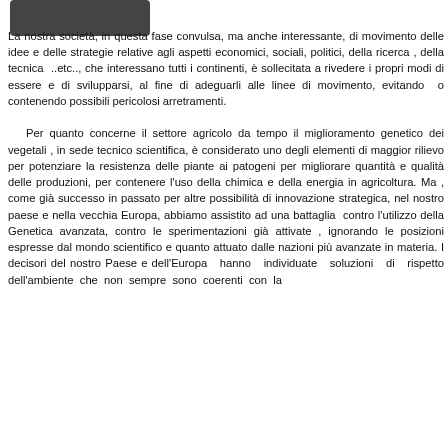[Figure (logo): Dark rectangular logo block at top left]
La nostra società, in questa fase convulsa, ma anche interessante, di movimento delle idee e delle strategie relative agli aspetti economici, sociali, politici, della ricerca , della tecnica ..etc.., che interessano tutti i continenti, è sollecitata a rivedere i propri modi di essere e di svilupparsi, al fine di adeguarli alle linee di movimento, evitando o contenendo possibili pericolosi arretramenti.

Per quanto concerne il settore agricolo da tempo il miglioramento genetico dei vegetali , in sede tecnico scientifica, è considerato uno degli elementi di maggior rilievo per potenziare la resistenza delle piante ai patogeni per migliorare quantità e qualità delle produzioni, per contenere l'uso della chimica e della energia in agricoltura. Ma , come già successo in passato per altre possibilità di innovazione strategica, nel nostro paese e nella vecchia Europa, abbiamo assistito ad una battaglia contro l'utilizzo della Genetica avanzata, contro le sperimentazioni già attivate , ignorando le posizioni espresse dal mondo scientifico e quanto attuato dalle nazioni più avanzate in materia. I decisori del nostro Paese e dell'Europa hanno individuate soluzioni di rispetto dell'ambiente che non sempre sono coerenti con la